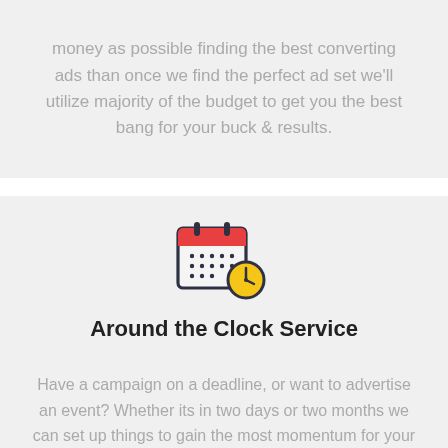money as possible finding the best converting ads than once we find the perfect ad set we'll utilize majority of the budget to get you the best bang for your buck & results.
[Figure (illustration): Calendar icon with a clock overlaid on the bottom-right corner. Calendar has a red top bar with binding tabs, dark border, and grid of dots representing days. Clock is yellow/gold faced with dark border and clock hands.]
Around the Clock Service
Have a campaign on a deadline, or want to advertise an event? Whether its in two days or two months we can set up things to gain the most momentum for your objective. Our #1 focus